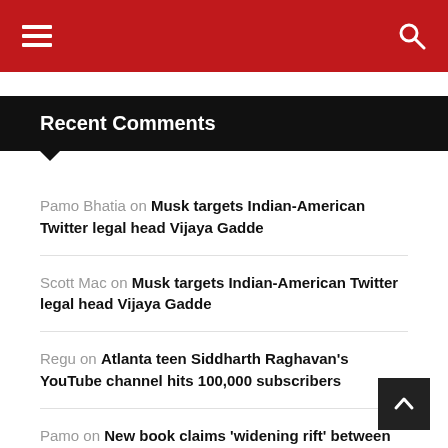Navigation bar with hamburger menu and search icon
Recent Comments
Pamo Bhatia on Musk targets Indian-American Twitter legal head Vijaya Gadde
Scott Mac on Musk targets Indian-American Twitter legal head Vijaya Gadde
Regu on Atlanta teen Siddharth Raghavan's YouTube channel hits 100,000 subscribers
Pamo on New book claims 'widening rift' between Biden and Harris
Oak Choo on US teacher rips off girl's hijab, gets fired